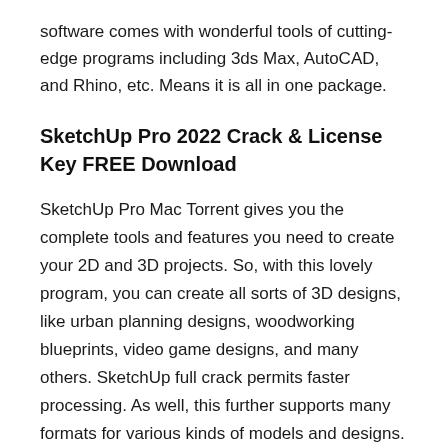software comes with wonderful tools of cutting-edge programs including 3ds Max, AutoCAD, and Rhino, etc. Means it is all in one package.
SketchUp Pro 2022 Crack & License Key FREE Download
SketchUp Pro Mac Torrent gives you the complete tools and features you need to create your 2D and 3D projects. So, with this lovely program, you can create all sorts of 3D designs, like urban planning designs, woodworking blueprints, video game designs, and many others. SketchUp full crack permits faster processing. As well, this further supports many formats for various kinds of models and designs. Now, with its help, you can render all sorts of designs with superb realism. The program is much more in contrast to any other CAD application Further, the software gives a simple and easy direction to design any sort of project. So, you can create in 2D and 3D projects the